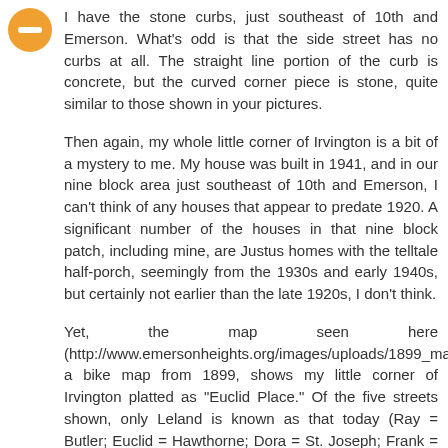[Figure (illustration): Orange/yellow circular avatar icon with a minus/dash symbol in the center, representing a blog commenter avatar]
I have the stone curbs, just southeast of 10th and Emerson. What's odd is that the side street has no curbs at all. The straight line portion of the curb is concrete, but the curved corner piece is stone, quite similar to those shown in your pictures.
Then again, my whole little corner of Irvington is a bit of a mystery to me. My house was built in 1941, and in our nine block area just southeast of 10th and Emerson, I can't think of any houses that appear to predate 1920. A significant number of the houses in that nine block patch, including mine, are Justus homes with the telltale half-porch, seemingly from the 1930s and early 1940s, but certainly not earlier than the late 1920s, I don't think.
Yet, the map seen here (http://www.emersonheights.org/images/uploads/1899_map_medium.jpg), a bike map from 1899, shows my little corner of Irvington platted as "Euclid Place." Of the five streets shown, only Leland is known as that today (Ray = Butler; Euclid = Hawthorne; Dora = St. Joseph; Frank = 9th). It's a mystery to me. Nothing on the map indicates that